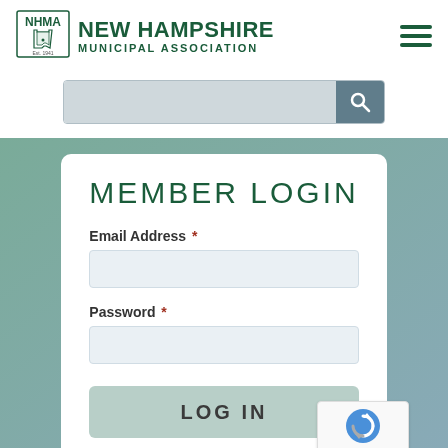[Figure (logo): New Hampshire Municipal Association logo with NHMA text and NH state outline]
NEW HAMPSHIRE MUNICIPAL ASSOCIATION
[Figure (screenshot): Search bar with magnifying glass icon on blue-grey background]
MEMBER LOGIN
Email Address *
Password *
LOG IN
[Figure (other): Google reCAPTCHA badge with Privacy and Terms links]